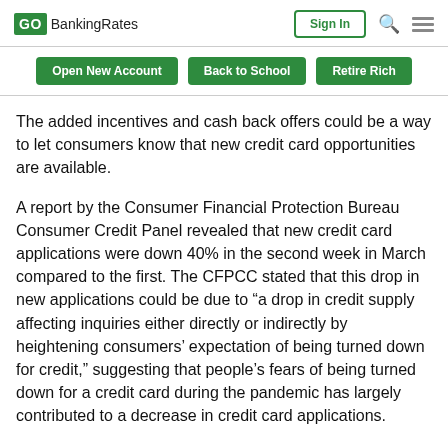GOBankingRates | Sign In
Open New Account   Back to School   Retire Rich
The added incentives and cash back offers could be a way to let consumers know that new credit card opportunities are available.
A report by the Consumer Financial Protection Bureau Consumer Credit Panel revealed that new credit card applications were down 40% in the second week in March compared to the first. The CFPCC stated that this drop in new applications could be due to “a drop in credit supply affecting inquiries either directly or indirectly by heightening consumers’ expectation of being turned down for credit,” suggesting that people’s fears of being turned down for a credit card during the pandemic has largely contributed to a decrease in credit card applications.